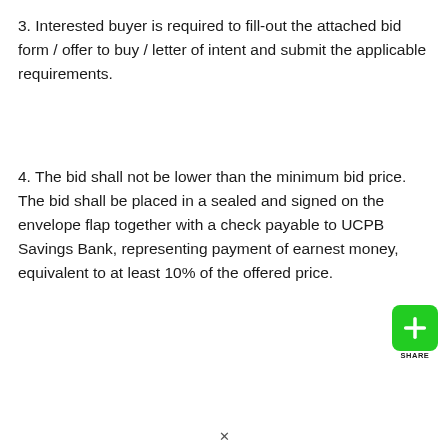3. Interested buyer is required to fill-out the attached bid form / offer to buy / letter of intent and submit the applicable requirements.
4. The bid shall not be lower than the minimum bid price. The bid shall be placed in a sealed and signed on the envelope flap together with a check payable to UCPB Savings Bank, representing payment of earnest money, equivalent to at least 10% of the offered price.